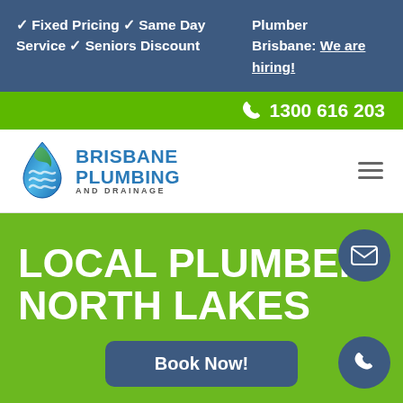✓ Fixed Pricing ✓ Same Day Service ✓ Seniors Discount  |  Plumber Brisbane: We are hiring!
📞 1300 616 203
[Figure (logo): Brisbane Plumbing and Drainage logo with water drop icon]
LOCAL PLUMBER NORTH LAKES
Book Now!